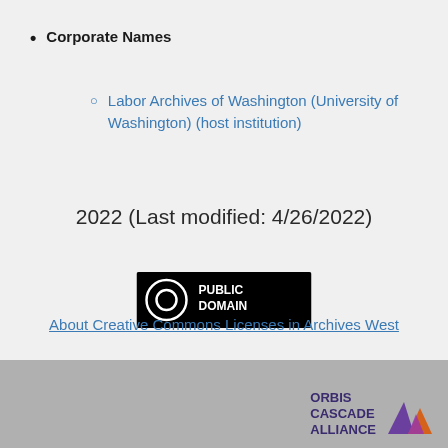Corporate Names
Labor Archives of Washington (University of Washington) (host institution)
2022 (Last modified: 4/26/2022)
[Figure (logo): Public Domain CC0 badge — black rectangle with circle-0 icon and text PUBLIC DOMAIN]
About Creative Commons Licenses in Archives West
[Figure (logo): Orbis Cascade Alliance logo with mountain/sail graphic and text ORBIS CASCADE ALLIANCE]